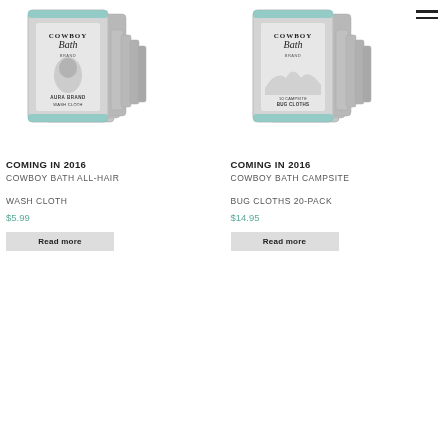[Figure (photo): Cowboy Bath All-Hair Wash Cloth product in silver packaging, multiple packets shown]
COMING IN 2016
COWBOY BATH ALL-HAIR

WASH CLOTH
$5.99
Read more
[Figure (photo): Cowboy Bath Campsite Bug Cloths 20-Pack product in silver packaging with multiple packets]
COMING IN 2016
COWBOY BATH CAMPSITE

BUG CLOTHS 20-PACK
$14.95
Read more